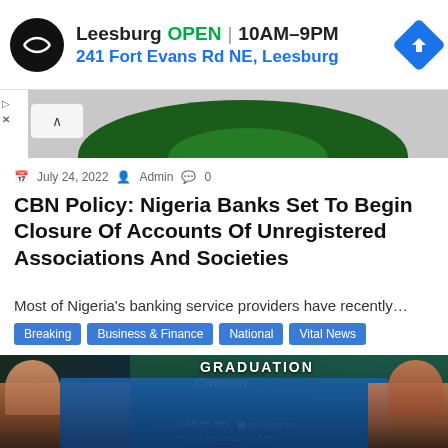[Figure (screenshot): Advertisement banner for Leesburg store showing logo, OPEN status, hours 10AM-9PM, address 241 Fort Evans Rd NE Leesburg, and navigation icon]
[Figure (photo): Partial image showing green arc/banner at top of article]
July 24, 2022   Admin   0
CBN Policy: Nigeria Banks Set To Begin Closure Of Accounts Of Unregistered Associations And Societies
Most of Nigeria's banking service providers have recently…
Breaking   Business & Finance   National   Vital News
[Figure (photo): Photo of a graduation ceremony with people seated in academic gowns, banner reading GRADUATION Ceremony, 10AM PROMPT, 1ST JULY, PTI Centre, N/Ugheli Road]